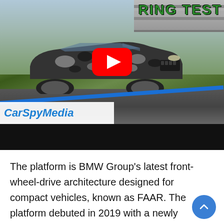[Figure (screenshot): CarSpyMedia YouTube video thumbnail showing a camouflaged BMW SUV prototype on a racing circuit. YouTube play button visible in center. Blue CarSpyMedia logo in lower left. Green text top right partially visible reading 'RING TEST'. Blue diagonal stripe across lower portion of image. Black bar below thumbnail.]
The platform is BMW Group's latest front-wheel-drive architecture designed for compact vehicles, known as FAAR. The platform debuted in 2019 with a newly designed 1-Series hatchback sold overseas and has since appeared in the 2-Series Gran Coupe, launched in the United States for